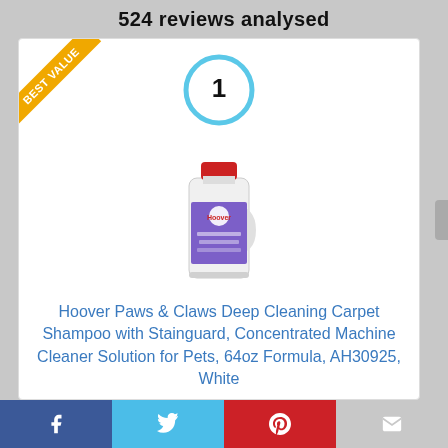524 reviews analysed
[Figure (photo): Hoover Paws & Claws Deep Cleaning Carpet Shampoo bottle, white with red cap, purple label]
Hoover Paws & Claws Deep Cleaning Carpet Shampoo with Stainguard, Concentrated Machine Cleaner Solution for Pets, 64oz Formula, AH30925, White
[Figure (infographic): Social media share bar at bottom: Facebook, Twitter, Pinterest, Email buttons]